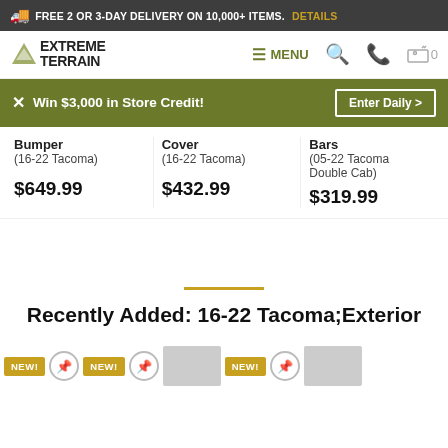FREE 2 OR 3-DAY DELIVERY ON 10,000+ ITEMS. DETAILS
[Figure (screenshot): ExtremeTerrain logo with mountain graphic, navigation bar with MENU, search, phone, and cart icons]
Win $3,000 in Store Credit! Enter Daily >
Bumper (16-22 Tacoma) $649.99
Cover (16-22 Tacoma) $432.99
Bars (05-22 Tacoma Double Cab) $319.99
Recently Added: 16-22 Tacoma;Exterior
NEW! NEW! NEW!